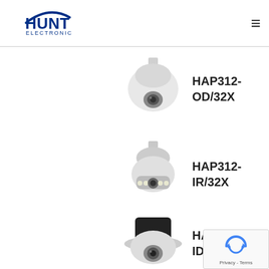[Figure (logo): Hunt Electronic logo with blue HUNT text and arc, ELECTRONIC subtitle]
[Figure (photo): White PTZ dome camera, outdoor model HAP312-OD/32X]
HAP312-OD/32X
[Figure (photo): White PTZ dome camera with IR LEDs, model HAP312-IR/32X]
HAP312-IR/32X
[Figure (photo): Black PTZ in-ceiling dome camera, model HAP112-ID]
HAP112-ID